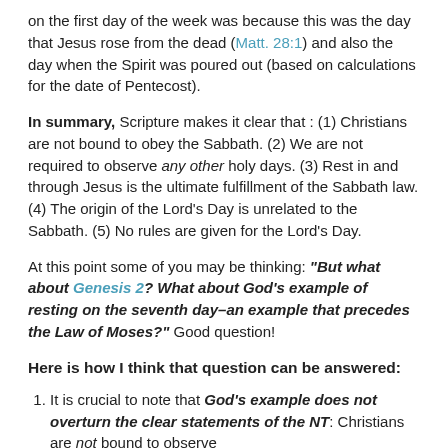on the first day of the week was because this was the day that Jesus rose from the dead (Matt. 28:1) and also the day when the Spirit was poured out (based on calculations for the date of Pentecost).
In summary, Scripture makes it clear that : (1) Christians are not bound to obey the Sabbath. (2) We are not required to observe any other holy days. (3) Rest in and through Jesus is the ultimate fulfillment of the Sabbath law. (4) The origin of the Lord's Day is unrelated to the Sabbath. (5) No rules are given for the Lord's Day.
At this point some of you may be thinking: "But what about Genesis 2? What about God's example of resting on the seventh day–an example that precedes the Law of Moses?" Good question!
Here is how I think that question can be answered:
It is crucial to note that God's example does not overturn the clear statements of the NT: Christians are not bound to observe